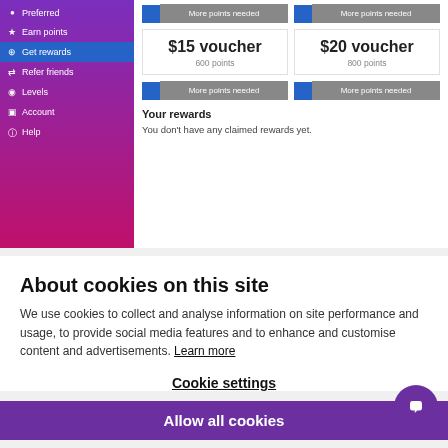Preferred
Earn points
Get rewards
Refer friends
Levels
Account
Help
More points needed
More points needed
$15 voucher
600 points
$20 voucher
800 points
More points needed
More points needed
Your rewards
You don't have any claimed rewards yet.
About cookies on this site
We use cookies to collect and analyse information on site performance and usage, to provide social media features and to enhance and customise content and advertisements. Learn more
Cookie settings
Allow all cookies